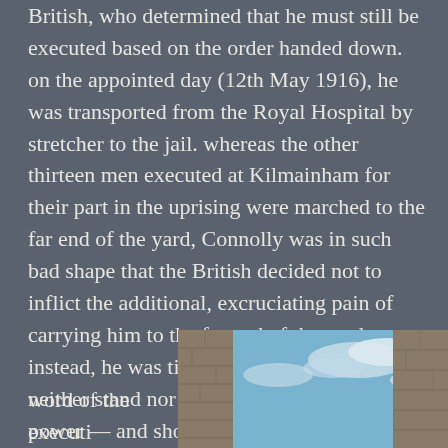British, who determined that he must still be executed based on the order handed down. on the appointed day (12th May 1916), he was transported from the Royal Hospital by stretcher to the jail. whereas the other thirteen men executed at Kilmainham for their part in the uprising were marched to the far end of the yard, Connolly was in such bad shape that the British decided not to inflict the additional, excruciating pain of carrying him to the far end of the yard. instead, he was tied to a chair — as he could neither stand nor even sit up on his own power — and shot.
word of the executi
[Figure (photo): Upward angled view of stone brick walls of a building (appears to be Kilmainham Gaol) against a blue sky with white clouds]